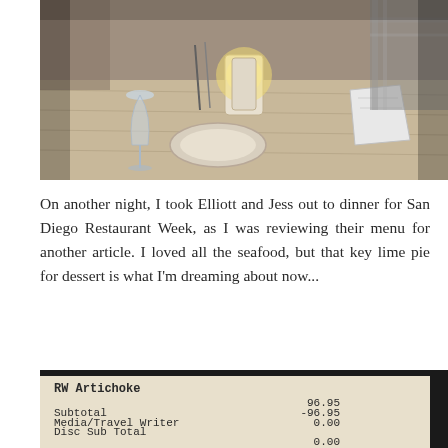[Figure (photo): Photo of a restaurant dining table with glassware, a lit candle lamp, and napkins in dim warm lighting.]
On another night, I took Elliott and Jess out to dinner for San Diego Restaurant Week, as I was reviewing their menu for another article. I loved all the seafood, but that key lime pie for dessert is what I'm dreaming about now...
[Figure (photo): Photo of a restaurant receipt showing: RW Artichoke, amount 96.95, Subtotal -96.95, Media/Travel Writer 0.00, Disc Sub Total 0.00, Total 0.00, Balance Due (partially visible)]